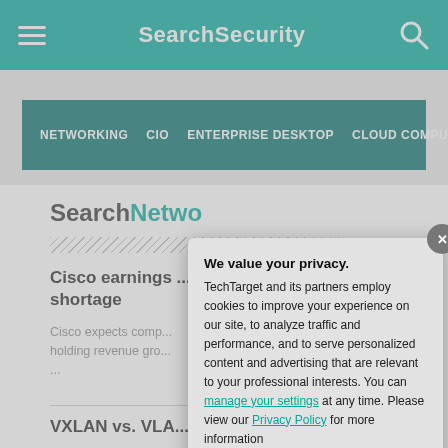SearchSecurity
NETWORKING  CIO  ENTERPRISE DESKTOP  CLOUD COMPUTING
SearchNetwo...
Cisco earnings ... shortage
Cisco expects comp... holding revenue gro... ...
VXLAN vs. VLA...
VLANs offer security... limitations in routing...
We value your privacy. TechTarget and its partners employ cookies to improve your experience on our site, to analyze traffic and performance, and to serve personalized content and advertising that are relevant to your professional interests. You can manage your settings at any time. Please view our Privacy Policy for more information